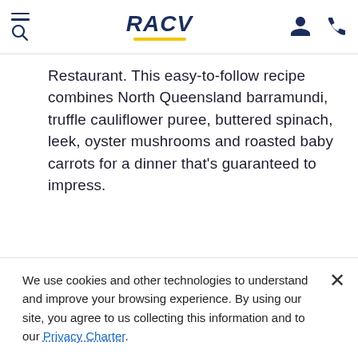RACV navigation header with hamburger menu, search icon, RACV logo, account icon, and phone icon
Restaurant. This easy-to-follow recipe combines North Queensland barramundi, truffle cauliflower puree, buttered spinach, leek, oyster mushrooms and roasted baby carrots for a dinner that's guaranteed to impress.
[Figure (photo): Close-up photo of fresh seafood on ice including octopus/squid tentacles, whole fish, shrimp/prawns, and lemon garnish]
We use cookies and other technologies to understand and improve your browsing experience. By using our site, you agree to us collecting this information and to our Privacy Charter.